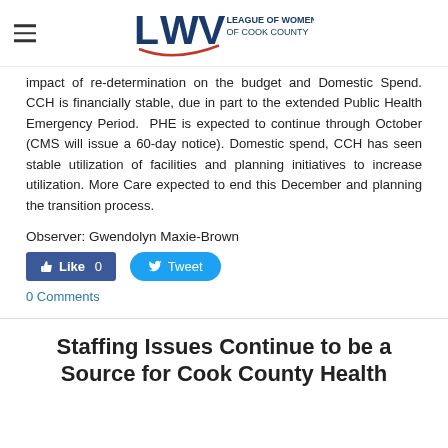LWV League of Women Voters of Cook County
impact of re-determination on the budget and Domestic Spend. CCH is financially stable, due in part to the extended Public Health Emergency Period. PHE is expected to continue through October (CMS will issue a 60-day notice). Domestic spend, CCH has seen stable utilization of facilities and planning initiatives to increase utilization. More Care expected to end this December and planning the transition process.
Observer: Gwendolyn Maxie-Brown
Like 0   Tweet
0 Comments
Staffing Issues Continue to be a Source for Cook County Health